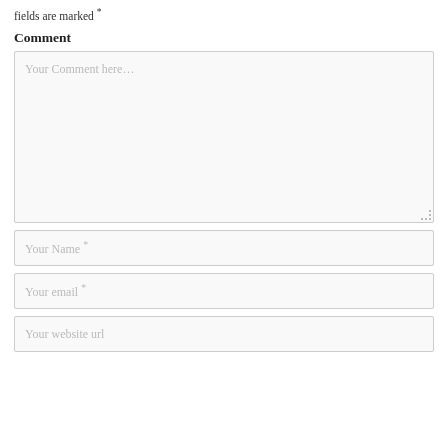fields are marked *
Comment
Your Comment here…
Your Name *
Your email *
Your website url